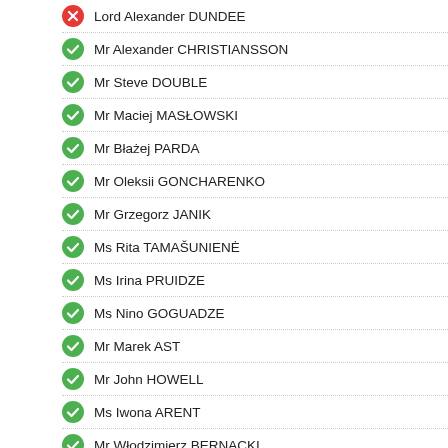Lord Alexander DUNDEE
Mr Alexander CHRISTIANSSON
Mr Steve DOUBLE
Mr Maciej MASŁOWSKI
Mr Błażej PARDA
Mr Oleksii GONCHARENKO
Mr Grzegorz JANIK
Ms Rita TAMAŠUNIENĖ
Ms Irina PRUIDZE
Ms Nino GOGUADZE
Mr Marek AST
Mr John HOWELL
Ms Iwona ARENT
Mr Włodzimierz BERNACKI
Mr Ian LIDDELL-GRAINGER
Mr Arkadiusz MULARCZYK
Sir Roger GALE